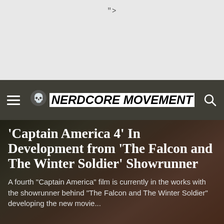">
[Figure (logo): Nerdcore Movement website navigation bar with hamburger menu, skull logo, site name in bold italic black text on dark background, and search icon]
'Captain America 4' In Development from 'The Falcon and The Winter Soldier' Showrunner
A fourth "Captain America" film is currently in the works with the showrunner behind "The Falcon and The Winter Soldier" developing the new movie...